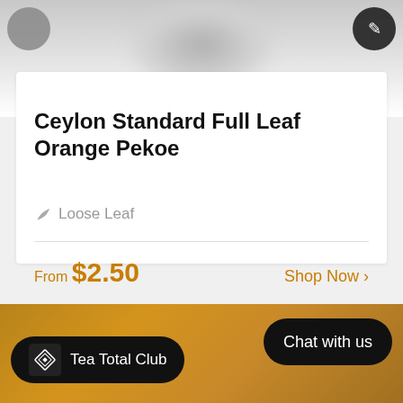[Figure (photo): Blurred top view of a tea cup/bowl from above, partially visible at top of screen]
Ceylon Standard Full Leaf Orange Pekoe
🌿 Loose Leaf
From $2.50
Shop Now >
[Figure (photo): Bottom strip showing a warm golden-brown tea background image]
Tea Total Club
Chat with us